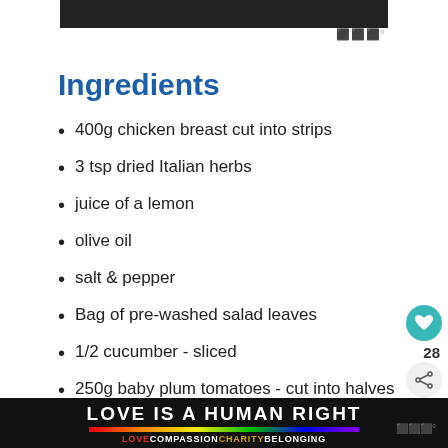[Figure (photo): Dark header image at top of page]
Ingredients
400g chicken breast cut into strips
3 tsp dried Italian herbs
juice of a lemon
olive oil
salt & pepper
Bag of pre-washed salad leaves
1/2 cucumber - sliced
250g baby plum tomatoes - cut into halves
[Figure (photo): Operation Gratitude advertisement banner with thank you image and medical workers]
[Figure (infographic): LOVE IS A HUMAN RIGHT rainbow banner ad with LOVE COMPASSION CHARITY BELONGING tagline]